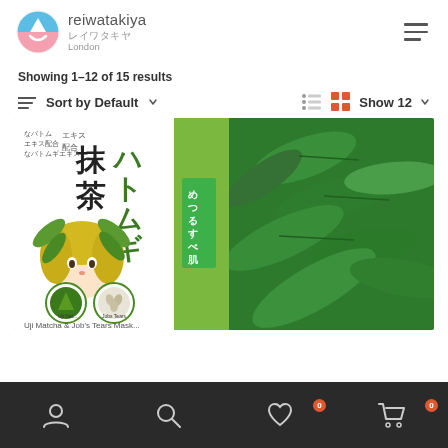[Figure (logo): reiwatakiya London logo with circular icon showing blue mountain and pink smile, text reads 'reiwatakiya レイワタキヤ London']
Showing 1–12 of 15 results
Sort by Default
[Figure (photo): Japanese face mask product box showing 抹茶ハトムギ (Matcha & Job's Tears) facial mask with anime-style girl illustration, green matcha powder and seeds circles, text 'Uji Matcha & Job's Tears Mask', alongside a photo of green tea leaves]
[Figure (infographic): Bottom navigation bar with account, search, wishlist (badge 0), and cart (badge 0) icons on dark background]